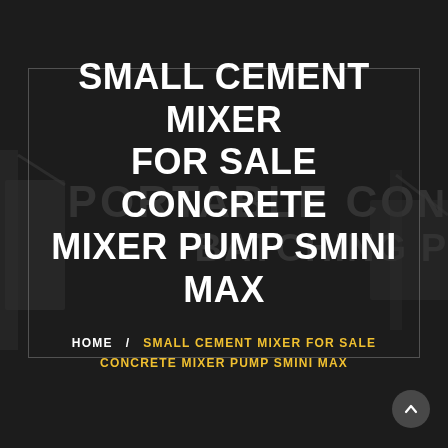[Figure (screenshot): Dark background hero section of a construction/engineering equipment website showing faint watermark text 'PORTABLE CONCRETE BATCHING PLANT' and silhouettes of construction machinery]
SMALL CEMENT MIXER FOR SALE CONCRETE MIXER PUMP SMINI MAX
HOME / SMALL CEMENT MIXER FOR SALE CONCRETE MIXER PUMP SMINI MAX